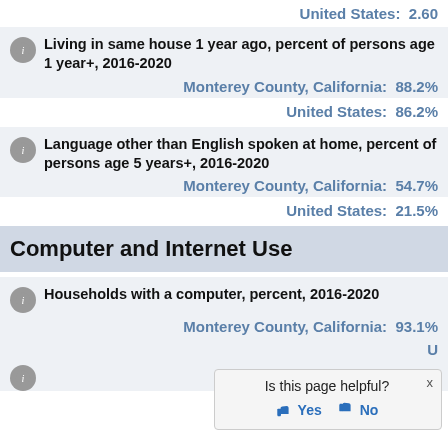United States: 2.60
Living in same house 1 year ago, percent of persons age 1 year+, 2016-2020
Monterey County, California: 88.2%
United States: 86.2%
Language other than English spoken at home, percent of persons age 5 years+, 2016-2020
Monterey County, California: 54.7%
United States: 21.5%
Computer and Internet Use
Households with a computer, percent, 2016-2020
Monterey County, California: 93.1%
United States: (partially visible)
Is this page helpful? Yes No